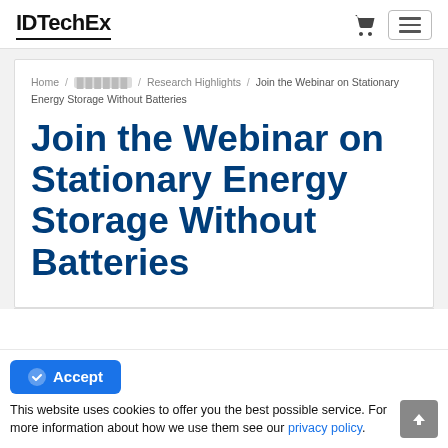IDTechEx
Home / [blurred] / Research Highlights / Join the Webinar on Stationary Energy Storage Without Batteries
Join the Webinar on Stationary Energy Storage Without Batteries
Accept
This website uses cookies to offer you the best possible service. For more information about how we use them see our privacy policy.